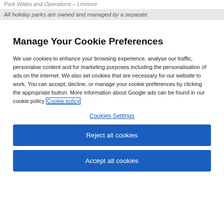Park Wales and Operations – Linmore
All holiday parks are owned and managed by a separate
Manage Your Cookie Preferences
We use cookies to enhance your browsing experience, analyse our traffic, personalise content and for marketing purposes including the personalisation of ads on the internet. We also set cookies that are necessary for our website to work. You can accept, decline, or manage your cookie preferences by clicking the appropriate button. More information about Google ads can be found in our cookie policy Cookie policy
Cookies Settings
Reject all cookies
Accept all cookies